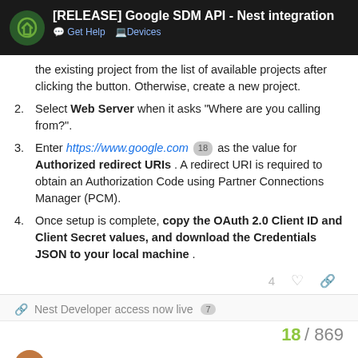[RELEASE] Google SDM API - Nest integration | Get Help | Devices
the existing project from the list of available projects after clicking the button. Otherwise, create a new project.
Select Web Server when it asks "Where are you calling from?".
Enter https://www.google.com 18 as the value for Authorized redirect URIs . A redirect URI is required to obtain an Authorization Code using Partner Connections Manager (PCM).
Once setup is complete, copy the OAuth 2.0 Client ID and Client Secret values, and download the Credentials JSON to your local machine .
Nest Developer access now live 7
18 / 869